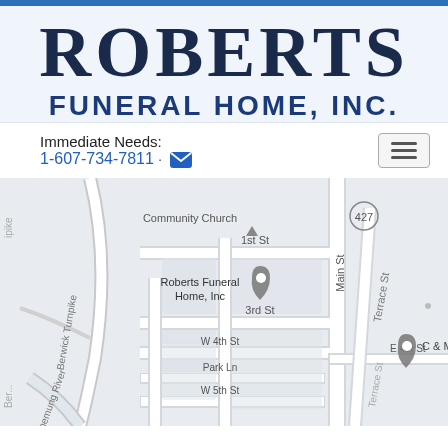ROBERTS FUNERAL HOME, INC.
Immediate Needs: 1-607-734-7811
[Figure (map): Google Maps view showing Roberts Funeral Home, Inc. location with nearby streets: 1st St, Main St, 3rd St, W 4th St, E 4th St, Park Ln, W 5th St, Terrace St, Berwick Turnpike, Chemung River, and a marker for C & M & Co painting. Route 427 visible. Community Church labeled.]